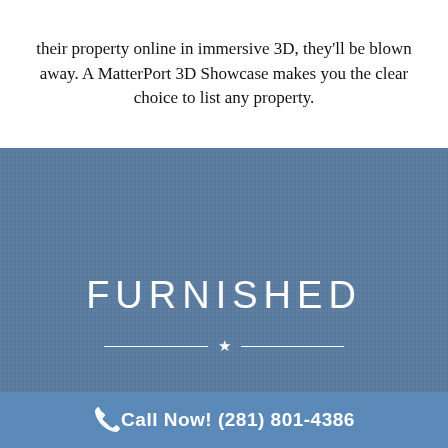their property online in immersive 3D, they'll be blown away. A MatterPort 3D Showcase makes you the clear choice to list any property.
FURNISHED
Call Now! (281) 801-4386